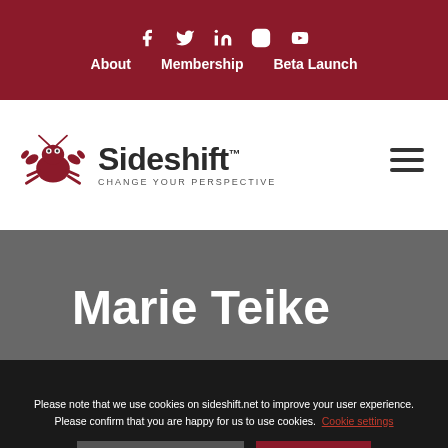Social icons: Facebook, Twitter, LinkedIn, Instagram, YouTube | About | Membership | Beta Launch
[Figure (logo): Sideshift logo with crab icon and tagline CHANGE YOUR PERSPECTIVE, with hamburger menu icon]
Marie Teike
HOME » SIDESHIFTERS » TEIKE, MARIE
Please note that we use cookies on sideshift.net to improve your user experience. Please confirm that you are happy for us to use cookies. Cookie settings
Read our Privacy Policy   ACCEPT